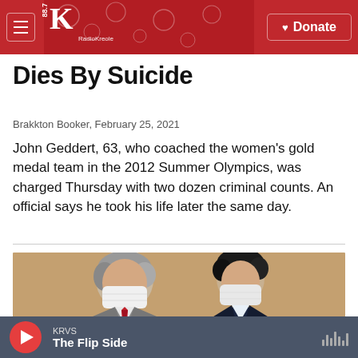88.7 K RadioKreole | Donate
Dies By Suicide
Brakkton Booker, February 25, 2021
John Geddert, 63, who coached the women's gold medal team in the 2012 Summer Olympics, was charged Thursday with two dozen criminal counts. An official says he took his life later the same day.
[Figure (photo): Two people wearing white face masks seated at a table, one in a grey suit with a red tie, one in a dark navy jacket, appearing to be in conversation.]
KRVS | The Flip Side